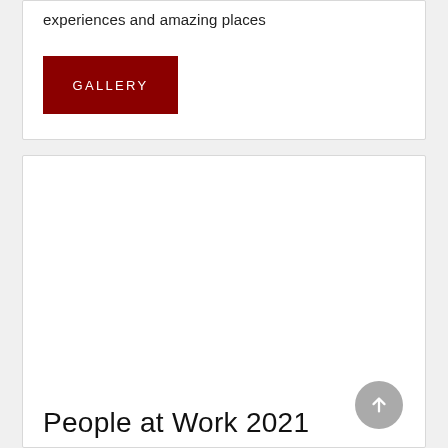experiences and amazing places
[Figure (other): Dark red GALLERY button]
[Figure (photo): Large white/empty image area inside a card]
People at Work 2021